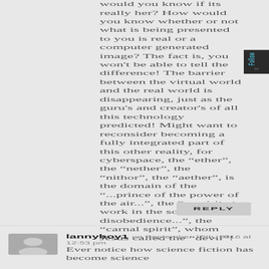would you know if its really her? How would you know whether or not what is being presented to you is real or a computer generated image? The fact is, you won't be able to tell the difference! The barrier between the virtual world and the real world is disappearing, just as the guru's and creator's of all this technology predicted! Might want to reconsider becoming a fully integrated part of this other reality, for cyberspace, the “ether”, the “nether”, the “nithor”, the “aether”, is the domain of the “...prince of the power of the air...”, the “...spirit at work in the sons of disobedience...”, the “carnal spirit”, whom Jesus called the “devil”!
REPLY
lannyboy1 on September 15th, 2016 at 12:53 pm
Ever notice how science fiction has become science